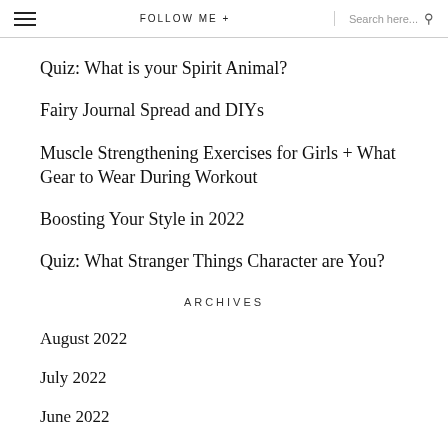FOLLOW ME +  Search here...
Quiz: What is your Spirit Animal?
Fairy Journal Spread and DIYs
Muscle Strengthening Exercises for Girls + What Gear to Wear During Workout
Boosting Your Style in 2022
Quiz: What Stranger Things Character are You?
ARCHIVES
August 2022
July 2022
June 2022